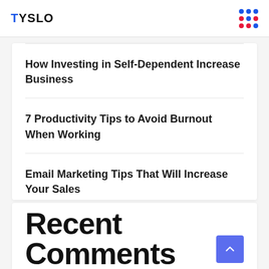TYSLO
How Investing in Self-Dependent Increase Business
7 Productivity Tips to Avoid Burnout When Working
Email Marketing Tips That Will Increase Your Sales
Recent Comments